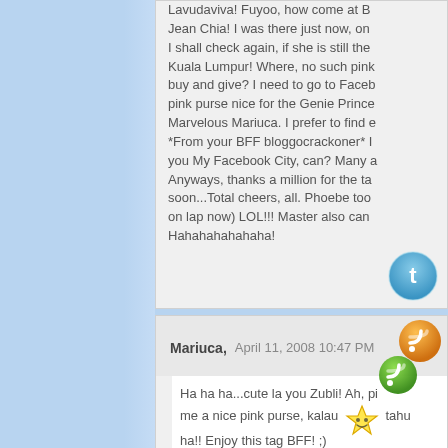Lavudaviva! Fuyoo, how come at B Jean Chia! I was there just now, on I shall check again, if she is still the Kuala Lumpur! Where, no such pink buy and give? I need to go to Faceb pink purse nice for the Genie Prince Marvelous Mariuca. I prefer to find e *From your BFF bloggocrackoner* I you My Facebook City, can? Many a Anyways, thanks a million for the ta soon...Total cheers, all. Phoebe too on lap now) LOL!!! Master also can Hahahahahahaha!
Mariuca,   April 11, 2008 10:47 PM
Ha ha ha...cute la you Zubli! Ah, pi me a nice pink purse, kalau tahu ha!! Enjoy this tag BFF! ;)